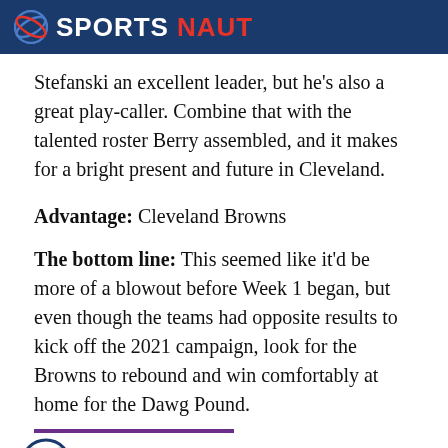SPORTSNAUT
Stefanski an excellent leader, but he’s also a great play-caller. Combine that with the talented roster Berry assembled, and it makes for a bright present and future in Cleveland.
Advantage: Cleveland Browns
The bottom line: This seemed like it’d be more of a blowout before Week 1 began, but even though the teams had opposite results to kick off the 2021 campaign, look for the Browns to rebound and win comfortably at home for the Dawg Pound.
Sportsnaut footer with social icons